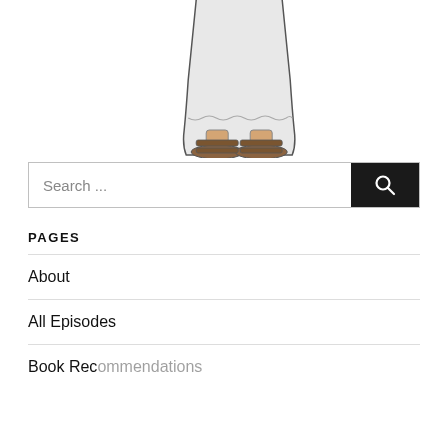[Figure (illustration): Lower portion of a cartoon/illustrated figure wearing a white robe and brown sandals]
Search ...
PAGES
About
All Episodes
Book Recommendations